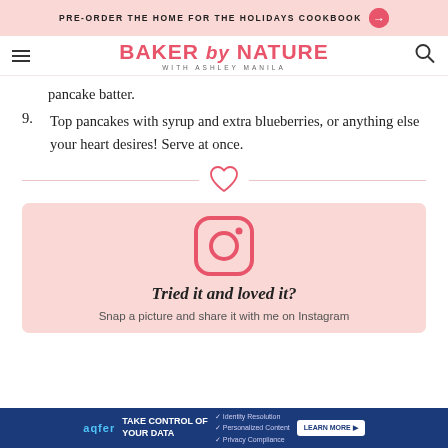PRE-ORDER THE HOME FOR THE HOLIDAYS COOKBOOK →
[Figure (logo): Baker by Nature logo with Ashley Manila subtitle, hamburger menu icon on left, search icon on right]
pancake batter.
9. Top pancakes with syrup and extra blueberries, or anything else your heart desires! Serve at once.
[Figure (illustration): Pink heart outline divider with horizontal lines on each side]
[Figure (infographic): Pink Instagram call-to-action box with Instagram icon, text 'Tried it and loved it?' and 'Snap a picture and share it with me on Instagram']
[Figure (other): Blue advertisement banner: Take Control of Your Data - aqfer - Identity Resolution, Personalized Content, Privacy Compliance - Learn More button]